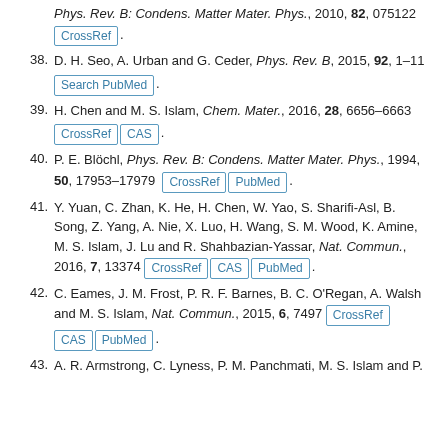(continued) Phys. Rev. B: Condens. Matter Mater. Phys., 2010, 82, 075122 [CrossRef].
38. D. H. Seo, A. Urban and G. Ceder, Phys. Rev. B, 2015, 92, 1–11 [Search PubMed].
39. H. Chen and M. S. Islam, Chem. Mater., 2016, 28, 6656–6663 [CrossRef] [CAS].
40. P. E. Blöchl, Phys. Rev. B: Condens. Matter Mater. Phys., 1994, 50, 17953–17979 [CrossRef] [PubMed].
41. Y. Yuan, C. Zhan, K. He, H. Chen, W. Yao, S. Sharifi-Asl, B. Song, Z. Yang, A. Nie, X. Luo, H. Wang, S. M. Wood, K. Amine, M. S. Islam, J. Lu and R. Shahbazian-Yassar, Nat. Commun., 2016, 7, 13374 [CrossRef] [CAS] [PubMed].
42. C. Eames, J. M. Frost, P. R. F. Barnes, B. C. O'Regan, A. Walsh and M. S. Islam, Nat. Commun., 2015, 6, 7497 [CrossRef] [CAS] [PubMed].
43. A. R. Armstrong, C. Lyness, P. M. Panchmati, M. S. Islam and P.